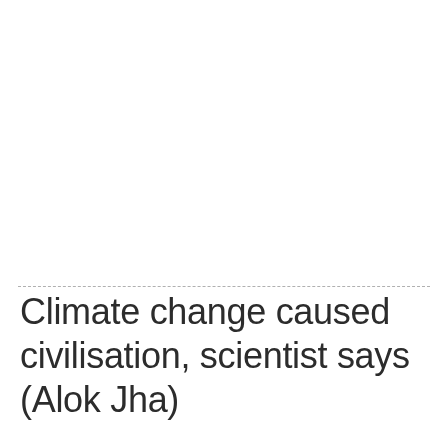Climate change caused civilisation, scientist says (Alok Jha)